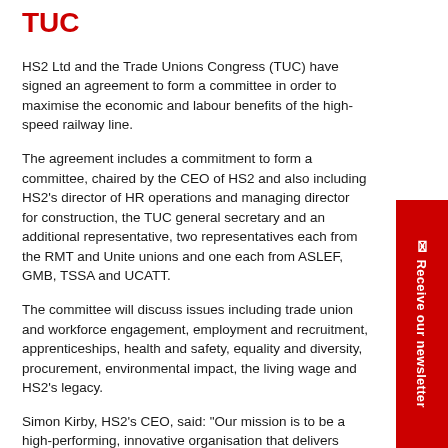TUC
HS2 Ltd and the Trade Unions Congress (TUC) have signed an agreement to form a committee in order to maximise the economic and labour benefits of the high-speed railway line.
The agreement includes a commitment to form a committee, chaired by the CEO of HS2 and also including HS2’s director of HR operations and managing director for construction, the TUC general secretary and an additional representative, two representatives each from the RMT and Unite unions and one each from ASLEF, GMB, TSSA and UCATT.
The committee will discuss issues including trade union and workforce engagement, employment and recruitment, apprenticeships, health and safety, equality and diversity, procurement, environmental impact, the living wage and HS2’s legacy.
Simon Kirby, HS2’s CEO, said: “Our mission is to be a high-performing, innovative organisation that delivers value for money by applying the best in worldwide design and construction techniques.
“To accomplish this mission we need to lead a safe, valued and effective workforce. This fundamental